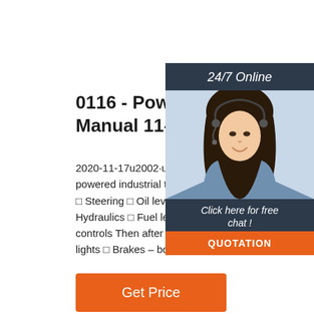0116 - Powered Industrial Tru... Manual 11-20
2020-11-17u2002·u2002Each shift, prior to starting a powered industrial truck, check the following: □ ... □ Steering □ Oil level □ Water level □ Tires ... Hydraulics □ Fuel level/battery charge □ Inst... controls Then after starting your truck check: □ ... lights □ Brakes – both service and parking □ ...
[Figure (photo): Customer service woman wearing headset, smiling, with 24/7 Online label and Click here for free chat overlay and QUOTATION button]
Get Price